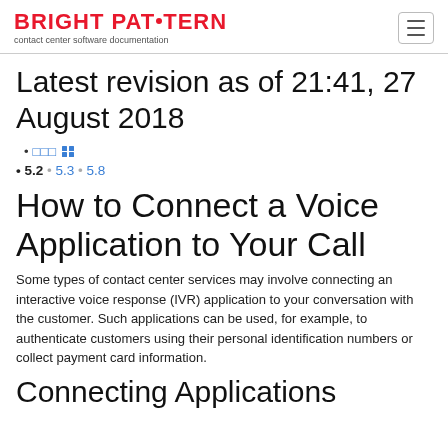BRIGHT PATTERN contact center software documentation
Latest revision as of 21:41, 27 August 2018
□□□ ⊞
• 5.2 • 5.3 • 5.8
How to Connect a Voice Application to Your Call
Some types of contact center services may involve connecting an interactive voice response (IVR) application to your conversation with the customer. Such applications can be used, for example, to authenticate customers using their personal identification numbers or collect payment card information.
Connecting Applications